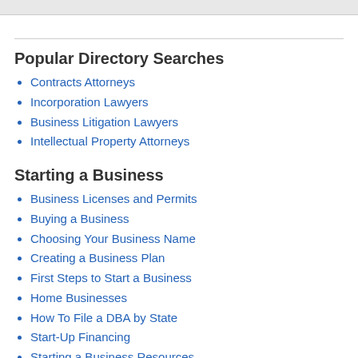Popular Directory Searches
Contracts Attorneys
Incorporation Lawyers
Business Litigation Lawyers
Intellectual Property Attorneys
Starting a Business
Business Licenses and Permits
Buying a Business
Choosing Your Business Name
Creating a Business Plan
First Steps to Start a Business
Home Businesses
How To File a DBA by State
Start-Up Financing
Starting a Business Resources
Starting a Business by Business Type
Starting a Nonprofit: Laws by State